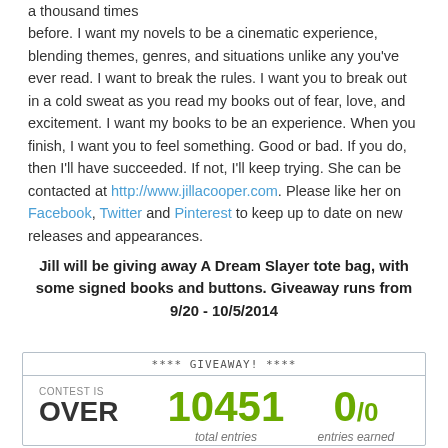a thousand times before. I want my novels to be a cinematic experience, blending themes, genres, and situations unlike any you've ever read. I want to break the rules. I want you to break out in a cold sweat as you read my books out of fear, love, and excitement. I want my books to be an experience. When you finish, I want you to feel something. Good or bad. If you do, then I'll have succeeded. If not, I'll keep trying. She can be contacted at http://www.jillacooper.com. Please like her on Facebook, Twitter and Pinterest to keep up to date on new releases and appearances.
Jill will be giving away A Dream Slayer tote bag, with some signed books and buttons. Giveaway runs from 9/20 - 10/5/2014
| **** GIVEAWAY! **** |  |  |
| --- | --- | --- |
| CONTEST IS OVER | 10451 total entries | 0/0 entries earned |